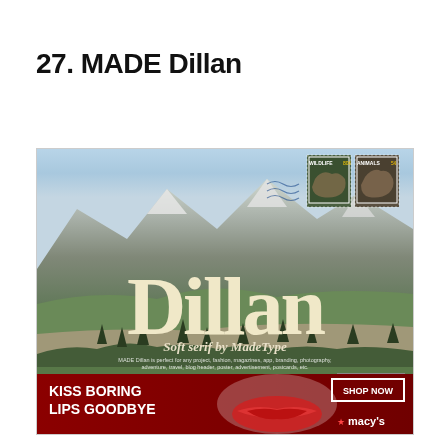27. MADE Dillan
[Figure (screenshot): Screenshot of MADE Dillan font product page showing a postcard-style banner with a mountain landscape background, two wildlife stamps in the upper right, large cream-colored 'Dillan' text in a soft serif font, subtitle 'Soft serif by MadeType', description text, 'Vol. 1' label, a CLOSE button, and an advertisement banner at the bottom for Macy's with 'KISS BORING LIPS GOODBYE' text and 'SHOP NOW' button.]